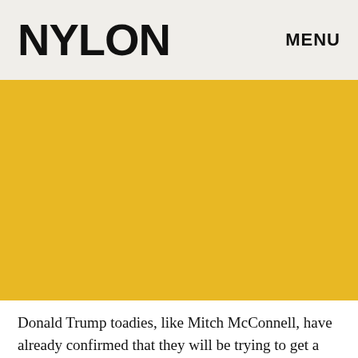NYLON   MENU
[Figure (illustration): Large yellow/golden colored rectangular area serving as a banner or image placeholder]
Donald Trump toadies, like Mitch McConnell, have already confirmed that they will be trying to get a